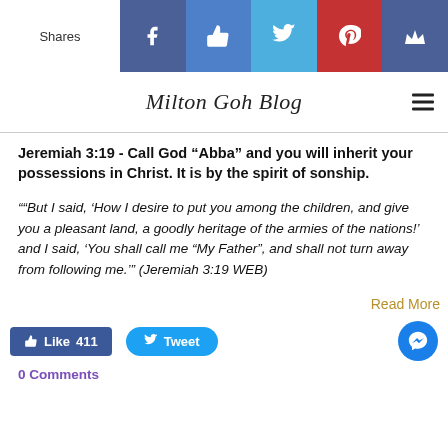[Figure (screenshot): Social sharing bar with icons for Facebook, Facebook Like, Twitter, Pinterest, and Wirecutter/crown, plus a Shares label on the left]
Milton Goh Blog
Jeremiah 3:19 - Call God “Abba” and you will inherit your possessions in Christ. It is by the spirit of sonship.
““But I said, ‘How I desire to put you among the children, and give you a pleasant land, a goodly heritage of the armies of the nations!’ and I said, ‘You shall call me “My Father”, and shall not turn away from following me.’” (Jeremiah 3:19 WEB)
Read More
Like 411   Tweet
0 Comments